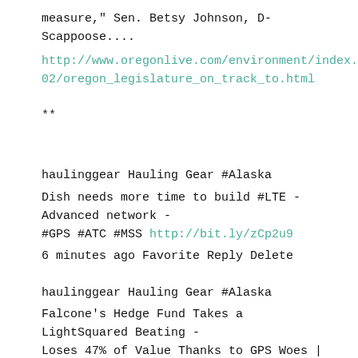measure," Sen. Betsy Johnson, D-Scappoose....
http://www.oregonlive.com/environment/index.ssf/2012/02/oregon_legislature_on_track_to.html
**
haulinggear Hauling Gear #Alaska
Dish needs more time to build #LTE -Advanced network - #GPS #ATC #MSS http://bit.ly/zCp2u9
6 minutes ago Favorite Reply Delete
haulinggear Hauling Gear #Alaska
Falcone's Hedge Fund Takes a LightSquared Beating - Loses 47% of Value Thanks to GPS Woes | DSLReports.com http://bit.ly/Aj7i62